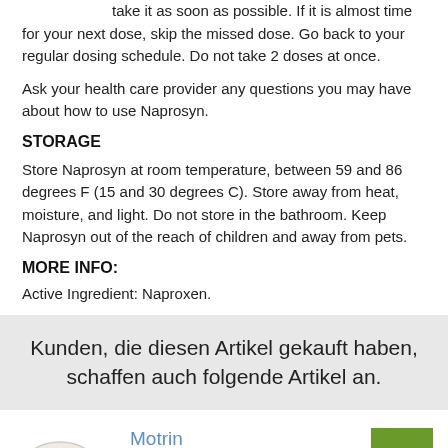take it as soon as possible. If it is almost time for your next dose, skip the missed dose. Go back to your regular dosing schedule. Do not take 2 doses at once.
Ask your health care provider any questions you may have about how to use Naprosyn.
STORAGE
Store Naprosyn at room temperature, between 59 and 86 degrees F (15 and 30 degrees C). Store away from heat, moisture, and light. Do not store in the bathroom. Keep Naprosyn out of the reach of children and away from pets.
MORE INFO:
Active Ingredient: Naproxen.
Kunden, die diesen Artikel gekauft haben, schaffen auch folgende Artikel an.
Motrin
nur €0.8 pro pille